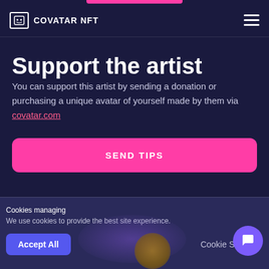COVATAR NFT
Support the artist
You can support this artist by sending a donation or purchasing a unique avatar of yourself made by them via covatar.com
SEND TIPS
Cookies managing
We use cookies to provide the best site experience.
Accept All
Cookie Settings